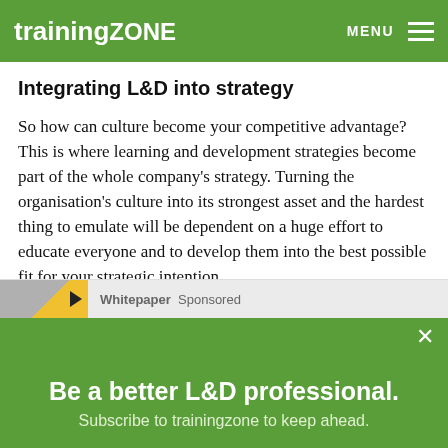trainingZONE  MENU
Integrating L&D into strategy
So how can culture become your competitive advantage? This is where learning and development strategies become part of the whole company's strategy. Turning the organisation's culture into its strongest asset and the hardest thing to emulate will be dependent on a huge effort to educate everyone and to develop them into the best possible fit for your strategic intention.
Whitepaper  Sponsored
Be a better L&D professional.